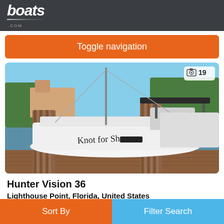[Figure (logo): boats.com logo in white italic bold text on dark grey background]
Toggle navigation
[Figure (photo): Sailboat named 'Knot for Shore' docked at a marina in Lighthouse Point, Florida. The boat is white with cockpit rigging visible. Wooden dock pilings in foreground. Other boats and tropical vegetation visible in background. Photo badge showing camera icon and '19'.]
Hunter Vision 36
Lighthouse Point, Florida, United States
Sort By
Filter Search